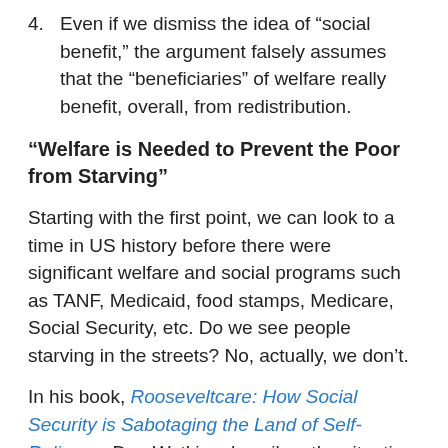4. Even if we dismiss the idea of “social benefit,” the argument falsely assumes that the “beneficiaries” of welfare really benefit, overall, from redistribution.
“Welfare is Needed to Prevent the Poor from Starving”
Starting with the first point, we can look to a time in US history before there were significant welfare and social programs such as TANF, Medicaid, food stamps, Medicare, Social Security, etc. Do we see people starving in the streets? No, actually, we don’t.
In his book, Rooseveltcare: How Social Security is Sabotaging the Land of Self-Reliance, Don Watkins describes the situation before welfare and Social Security:
Self-reliant Americans knew that sickness, injury, or adverse economic conditions could throw them out of